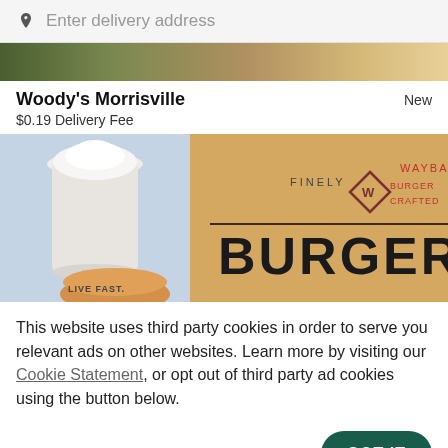Enter delivery address
Woody's Morrisville
New
$0.19 Delivery Fee
[Figure (photo): Restaurant food delivery app screenshot showing a milkshake cup and burger with Wayback Burgers branding text reading FINELY W CRAFTED BURGERS, LIVE FAST]
This website uses third party cookies in order to serve you relevant ads on other websites. Learn more by visiting our Cookie Statement, or opt out of third party ad cookies using the button below.
OPT OUT
GOT IT